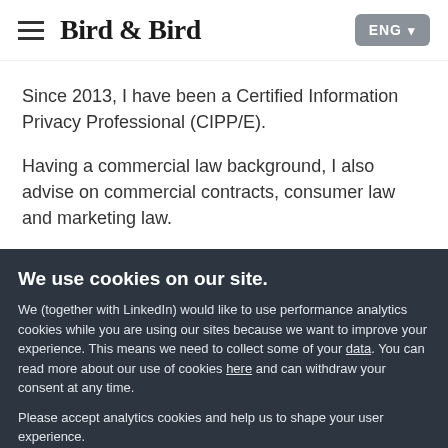Bird & Bird — ENG
Since 2013, I have been a Certified Information Privacy Professional (CIPP/E).
Having a commercial law background, I also advise on commercial contracts, consumer law and marketing law.
We use cookies on our site.
We (together with LinkedIn) would like to use performance analytics cookies while you are using our sites because we want to improve your experience. This means we need to collect some of your data. You can read more about our use of cookies here and can withdraw your consent at any time.
Please accept analytics cookies and help us to shape your user experience.
No analytics please
Allow analytics